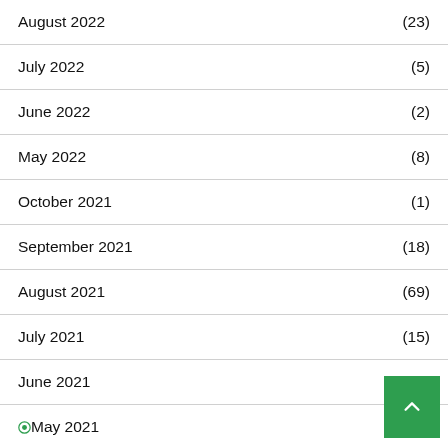August 2022 (23)
July 2022 (5)
June 2022 (2)
May 2022 (8)
October 2021 (1)
September 2021 (18)
August 2021 (69)
July 2021 (15)
June 2021 (10)
May 2021 (3)